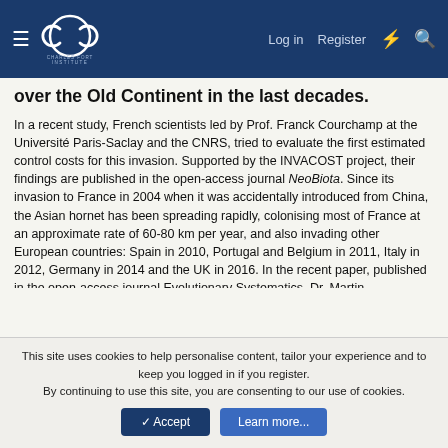Charles Fort Institute — navigation bar with Log in, Register, lightning icon, search icon
over the Old Continent in the last decades.
In a recent study, French scientists led by Prof. Franck Courchamp at the Université Paris-Saclay and the CNRS, tried to evaluate the first estimated control costs for this invasion. Supported by the INVACOST project, their findings are published in the open-access journal NeoBiota. Since its invasion to France in 2004 when it was accidentally introduced from China, the Asian hornet has been spreading rapidly, colonising most of France at an approximate rate of 60-80 km per year, and also invading other European countries: Spain in 2010, Portugal and Belgium in 2011, Italy in 2012, Germany in 2014 and the UK in 2016. In the recent paper, published in the open-access journal Evolutionary Systematics, Dr. Martin Hussemann from CeNaK, University of Hamburg has
This site uses cookies to help personalise content, tailor your experience and to keep you logged in if you register. By continuing to use this site, you are consenting to our use of cookies.